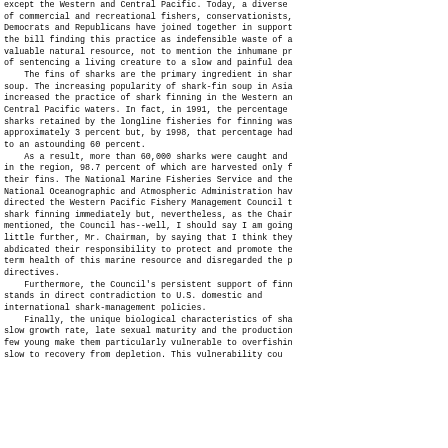except the Western and Central Pacific. Today, a diverse group of commercial and recreational fishers, conservationists, Democrats and Republicans have joined together in support of the bill finding this practice as indefensible waste of a valuable natural resource, not to mention the inhumane practice of sentencing a living creature to a slow and painful death.
    The fins of sharks are the primary ingredient in shark-fin soup. The increasing popularity of shark-fin soup in Asia has increased the practice of shark finning in the Western and Central Pacific waters. In fact, in 1991, the percentage of sharks retained by the longline fisheries for finning was approximately 3 percent but, by 1998, that percentage had risen to an astounding 60 percent.
    As a result, more than 60,000 sharks were caught and finned in the region, 98.7 percent of which are harvested only for their fins. The National Marine Fisheries Service and the National Oceanographic and Atmospheric Administration have directed the Western Pacific Fishery Management Council to ban shark finning immediately but, nevertheless, as the Chairman mentioned, the Council has--well, I should say I am going a little further, Mr. Chairman, by saying that I think they have abdicated their responsibility to protect and promote the long-term health of this marine resource and disregarded the prior directives.
    Furthermore, the Council's persistent support of finning stands in direct contradiction to U.S. domestic and international shark-management policies.
    Finally, the unique biological characteristics of sharks-- slow growth rate, late sexual maturity and the production of few young make them particularly vulnerable to overfishing and slow to recovery from depletion. This vulnerability cou...